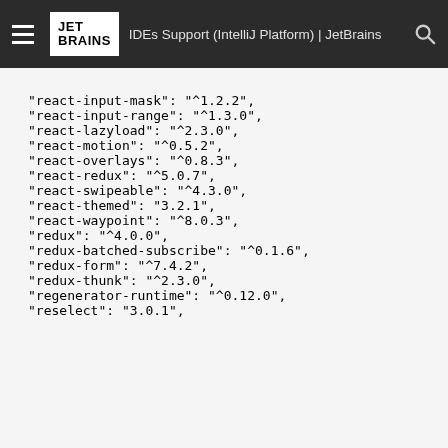IDEs Support (IntelliJ Platform) | JetBrains
"react-input-mask": "^1.2.2",
"react-input-range": "^1.3.0",
"react-lazyload": "^2.3.0",
"react-motion": "^0.5.2",
"react-overlays": "^0.8.3",
"react-redux": "^5.0.7",
"react-swipeable": "^4.3.0",
"react-themed": "3.2.1",
"react-waypoint": "^8.0.3",
"redux": "^4.0.0",
"redux-batched-subscribe": "^0.1.6",
"redux-form": "^7.4.2",
"redux-thunk": "^2.3.0",
"regenerator-runtime": "^0.12.0",
"reselect": "3.0.1",